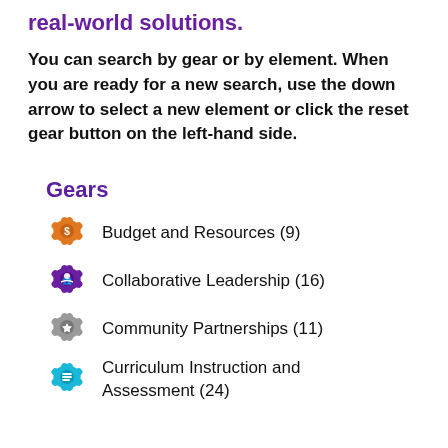real-world solutions.
You can search by gear or by element. When you are ready for a new search, use the down arrow to select a new element or click the reset gear button on the left-hand side.
Gears
Budget and Resources (9)
Collaborative Leadership (16)
Community Partnerships (11)
Curriculum Instruction and Assessment (24)